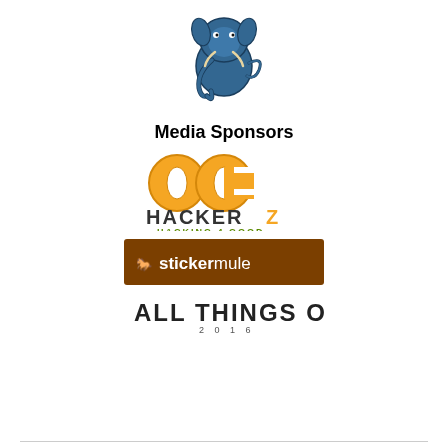[Figure (logo): PostgreSQL elephant logo]
Media Sponsors
[Figure (logo): OC Hackerz - Hacking 4 Good logo]
[Figure (logo): Sticker Mule logo]
[Figure (logo): All Things Open 2016 logo]